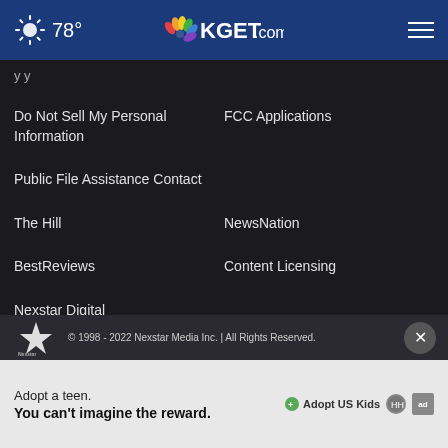78° KGET.com
Do Not Sell My Personal Information
FCC Applications
Public File Assistance Contact
The Hill
NewsNation
BestReviews
Content Licensing
Nexstar Digital
© 1998 - 2022 Nexstar Media Inc. | All Rights Reserved.
[Figure (infographic): Advertisement banner: Adopt a teen. You can't imagine the reward. AdoptUSKids logo.]